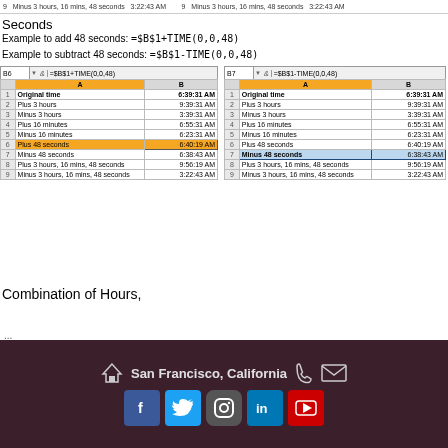9   Minus 3 hours, 16 mins, 48 seconds  3:22:43 AM        9   Minus 3 hours, 16 mins, 48 seconds  3:22:43 AM
Seconds
Example to add 48 seconds: =$B$1+TIME(0,0,48)
Example to subtract 48 seconds: =$B$1-TIME(0,0,48)
[Figure (screenshot): Two Excel spreadsheet screenshots side by side. Left: formula bar shows B6 with =$B$1+TIME(0,0,48), row 6 'Plus 48 seconds' highlighted orange. Right: formula bar shows B7 with =$B$1-TIME(0,0,48), row 7 'Minus 48 seconds' highlighted blue. Both show columns A (time description) and B (time values).]
Combination of Hours,
...
San Francisco, California  [social icons: Facebook, Twitter, Instagram, LinkedIn, YouTube]